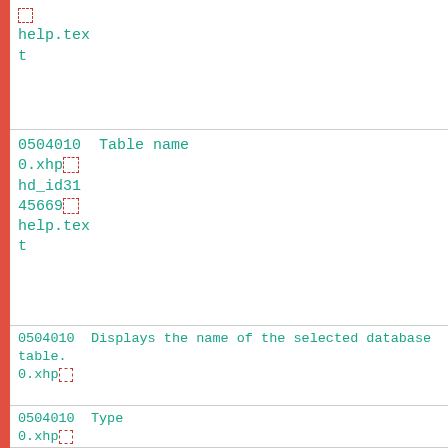| [icon] help.text |
| 0504010  Table name
0.xhp[icon]
hd_id3145669[icon]
help.text |
| 0504010  Displays the name of the selected database table.
0.xhp[icon]
par_id3147834
[icon]
help.text |
| 0504010  Type
0.xhp[icon] |